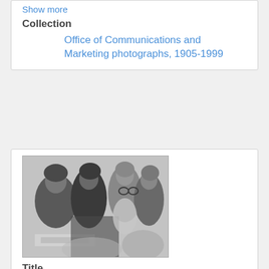Show more
Collection
Office of Communications and Marketing photographs, 1905-1999
[Figure (photo): Black and white photograph of Illinois Institute of Technology students in Chicago, Illinois, 1980s. Several young people are seated, looking in the same direction; one person wearing glasses is prominent.]
Title
Illinois Institute of Technology students, Chicago, Illinois, 1980s
Date
1980-1989
Description